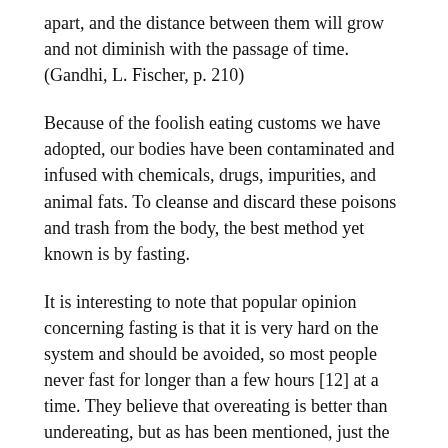apart, and the distance between them will grow and not diminish with the passage of time. (Gandhi, L. Fischer, p. 210)
Because of the foolish eating customs we have adopted, our bodies have been contaminated and infused with chemicals, drugs, impurities, and animal fats. To cleanse and discard these poisons and trash from the body, the best method yet known is by fasting.
It is interesting to note that popular opinion concerning fasting is that it is very hard on the system and should be avoided, so most people never fast for longer than a few hours [12] at a time. They believe that overeating is better than undereating, but as has been mentioned, just the opposite is true.
Everyone should fast. However, the type of fast and